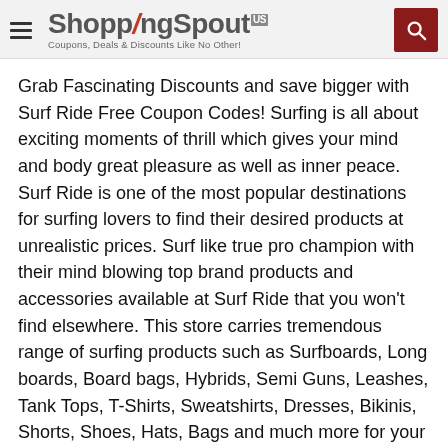ShoppingSpout US — Coupons, Deals & Discounts Like No Other!
Grab Fascinating Discounts and save bigger with Surf Ride Free Coupon Codes! Surfing is all about exciting moments of thrill which gives your mind and body great pleasure as well as inner peace. Surf Ride is one of the most popular destinations for surfing lovers to find their desired products at unrealistic prices. Surf like true pro champion with their mind blowing top brand products and accessories available at Surf Ride that you won't find elsewhere. This store carries tremendous range of surfing products such as Surfboards, Long boards, Board bags, Hybrids, Semi Guns, Leashes, Tank Tops, T-Shirts, Sweatshirts, Dresses, Bikinis, Shorts, Shoes, Hats, Bags and much more for your true performance. It has grown up from the ground up, sprouting first in Oceanside, and branching out to a second location in Solana Beach. With both store fronts rooted along the Pacific Coast Highway, Surf Ride is committed to providing